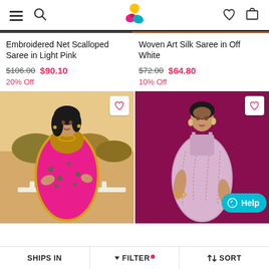Navigation header with menu, search, logo, wishlist, cart icons
Embroidered Net Scalloped Saree in Light Pink
$106.00  $90.10
20% Off
Woven Art Silk Saree in Off White
$72.00  $64.80
10% Off
[Figure (photo): Woman wearing a pink embroidered net scalloped saree with golden border, standing outdoors]
[Figure (photo): Woman wearing a lavender/light pink woven art silk saree against a maroon background]
SHIPS IN   FILTER   SORT